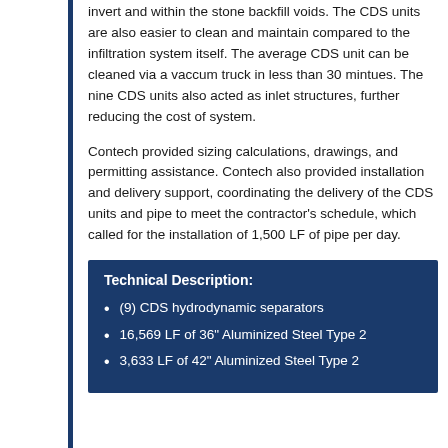invert and within the stone backfill voids. The CDS units are also easier to clean and maintain compared to the infiltration system itself. The average CDS unit can be cleaned via a vaccum truck in less than 30 mintues. The nine CDS units also acted as inlet structures, further reducing the cost of system.
Contech provided sizing calculations, drawings, and permitting assistance. Contech also provided installation and delivery support, coordinating the delivery of the CDS units and pipe to meet the contractor's schedule, which called for the installation of 1,500 LF of pipe per day.
Technical Description:
(9) CDS hydrodynamic separators
16,569 LF of 36" Aluminized Steel Type 2
3,633 LF of 42" Aluminized Steel Type 2